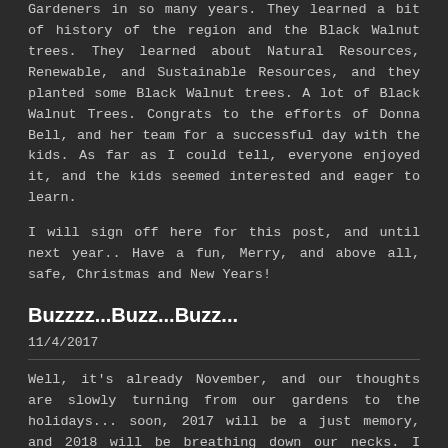Gardeners in so many years. They learned a bit of history of the region and the Black Walnut trees. They learned about Natural Resources, Renewable, and Sustainable Resources, and they planted some Black Walnut trees. A lot of Black Walnut Trees. Congrats to the efforts of Donna Bell, and her team for a successful day with the kids. As far as I could tell, everyone enjoyed it, and the kids seemed interested and eager to learn.
I will sign off here for this post, and until next year.. Have a fun, Merry, and above all, safe, Christmas and New Years!
Buzzzz...Buzz...Buzz...
11/4/2017
Well, it's already November, and our thoughts are slowly turning from our gardens to the holidays... soon, 2017 will be a just memory, and 2018 will be breathing down our necks. I started thinking about what I could write about a week or so ago, and thought, hmm, there is just not much going on... Well, except this and that, and... ok, there is plenty going on, lol.